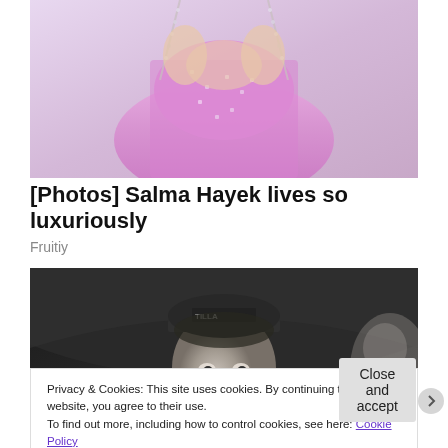[Figure (photo): Woman in pink sparkly/sequined dress with crystal embellishments, partial view cropped at torso]
[Photos] Salma Hayek lives so luxuriously
Fruitiy
[Figure (photo): Black and white photo of a smiling man wearing a cap with text on it, looking up slightly]
Privacy & Cookies: This site uses cookies. By continuing to use this website, you agree to their use.
To find out more, including how to control cookies, see here: Cookie Policy
Close and accept